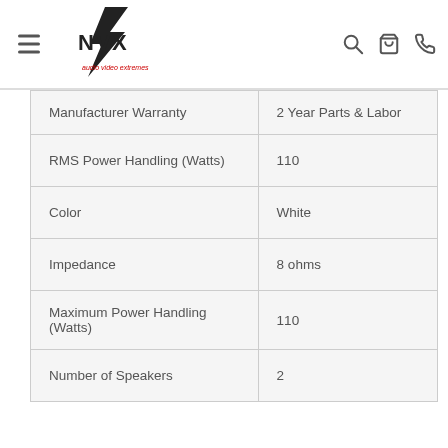AVX - Audio Video Extremes navigation header
| Specification | Value |
| --- | --- |
| Manufacturer Warranty | 2 Year Parts & Labor |
| RMS Power Handling (Watts) | 110 |
| Color | White |
| Impedance | 8 ohms |
| Maximum Power Handling (Watts) | 110 |
| Number of Speakers | 2 |